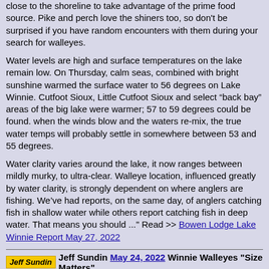close to the shoreline to take advantage of the prime food source. Pike and perch love the shiners too, so don't be surprised if you have random encounters with them during your search for walleyes.
Water levels are high and surface temperatures on the lake remain low. On Thursday, calm seas, combined with bright sunshine warmed the surface water to 56 degrees on Lake Winnie. Cutfoot Sioux, Little Cutfoot Sioux and select “back bay” areas of the big lake were warmer; 57 to 59 degrees could be found. when the winds blow and the waters re-mix, the true water temps will probably settle in somewhere between 53 and 55 degrees.
Water clarity varies around the lake, it now ranges between mildly murky, to ultra-clear. Walleye location, influenced greatly by water clarity, is strongly dependent on where anglers are fishing. We’ve had reports, on the same day, of anglers catching fish in shallow water while others report catching fish in deep water. That means you should ..." Read >> Bowen Lodge Lake Winnie Report May 27, 2022
Jeff Sundin May 24, 2022 Winnie Walleyes "Size Matters"
There might